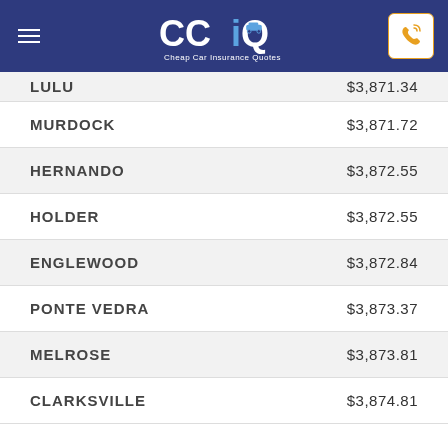CCIQ - Cheap Car Insurance Quotes
| City | Rate |
| --- | --- |
| LULU | $3,871.34 |
| MURDOCK | $3,871.72 |
| HERNANDO | $3,872.55 |
| HOLDER | $3,872.55 |
| ENGLEWOOD | $3,872.84 |
| PONTE VEDRA | $3,873.37 |
| MELROSE | $3,873.81 |
| CLARKSVILLE | $3,874.81 |